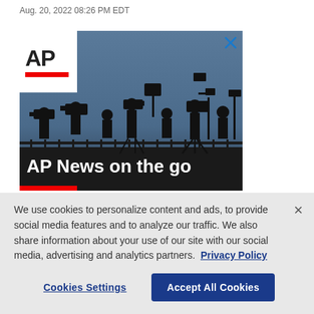Aug. 20, 2022 08:26 PM EDT
[Figure (photo): AP News advertisement banner showing silhouettes of camera operators and journalists against a blue sky. The AP logo appears in the top-left corner on a white background with a red bar below. Text overlay reads 'AP News on the go' in white bold text.]
We use cookies to personalize content and ads, to provide social media features and to analyze our traffic. We also share information about your use of our site with our social media, advertising and analytics partners. Privacy Policy
Cookies Settings    Accept All Cookies